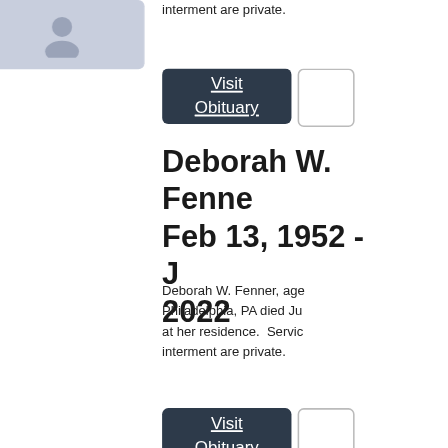[Figure (photo): Placeholder photo with person silhouette icon, light blue-grey background]
interment are private.
Visit Obituary
Deborah W. Fenne
Feb 13, 1952 - J
2022
Deborah W. Fenner, age Philadelphia, PA died Ju at her residence. Servic interment are private.
Visit Obituary